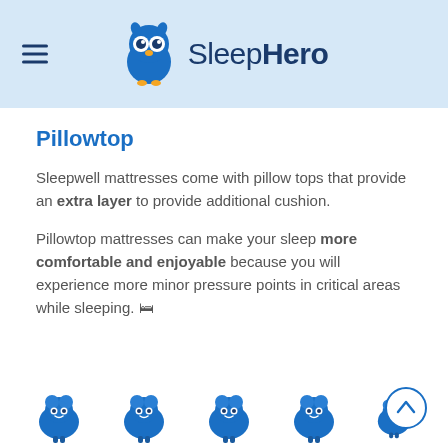SleepHero
Pillowtop
Sleepwell mattresses come with pillow tops that provide an extra layer to provide additional cushion.
Pillowtop mattresses can make your sleep more comfortable and enjoyable because you will experience more minor pressure points in critical areas while sleeping. 🛏
[Figure (illustration): Five blue cartoon sheep icons arranged in a row at the bottom of the page]